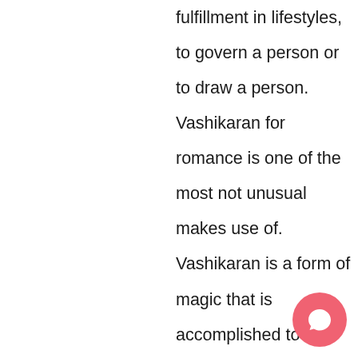fulfillment in lifestyles, to govern a person or to draw a person. Vashikaran for romance is one of the most not unusual makes use of. Vashikaran is a form of magic that is accomplished to control someone or to attract someone. The individual who's in love isn't able to control his/her thoughts and may be very an awful lot annoyed. To give the control lower back to the man or woman, Vashikaran is accomplished The character who's stricken by the Vashikaran mantra is known as the victim and the person that has performed the Vashikaran is called the vashikaran agent. The while a person is able to
[Figure (other): Pink circular chat/messaging button with a speech bubble icon]